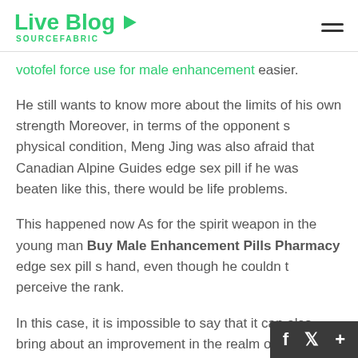Live Blog SOURCEFABRIC
votofel force use for male enhancement easier.
He still wants to know more about the limits of his own strength Moreover, in terms of the opponent s physical condition, Meng Jing was also afraid that Canadian Alpine Guides edge sex pill if he was beaten like this, there would be life problems.
This happened now As for the spirit weapon in the young man Buy Male Enhancement Pills Pharmacy edge sex pill s hand, even though he couldn t perceive the rank.
In this case, it is impossible to say that it can also bring about an improvement in the realm of cultivation.